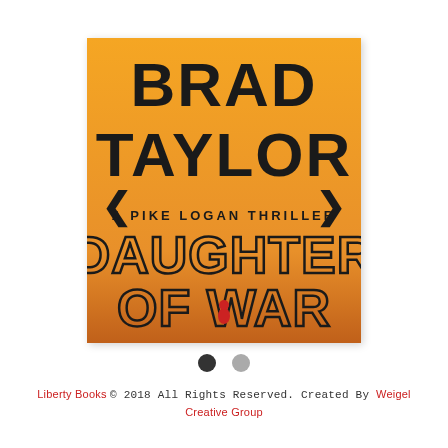[Figure (photo): Book cover of 'Daughter of War' by Brad Taylor, a Pike Logan Thriller. Orange background with large bold black text showing author name BRAD TAYLOR at top, subtitle A PIKE LOGAN THRILLER in the middle, and title DAUGHTER OF WAR at the bottom. A small red figure is visible at the bottom center.]
• •  (carousel dots: first filled, second outlined)
Liberty Books © 2018 All Rights Reserved. Created By Weigel Creative Group